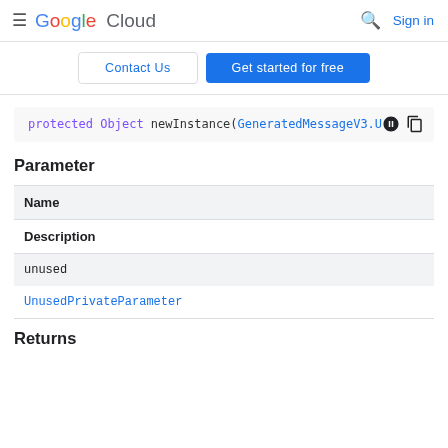Google Cloud  Sign in
Contact Us  Get started for free
protected Object newInstance(GeneratedMessageV3.U
Parameter
| Name | Description |
| --- | --- |
| unused | UnusedPrivateParameter |
Returns